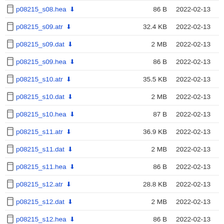p08215_s08.hea  86 B  2022-02-13
p08215_s09.atr  32.4 KB  2022-02-13
p08215_s09.dat  2 MB  2022-02-13
p08215_s09.hea  86 B  2022-02-13
p08215_s10.atr  35.5 KB  2022-02-13
p08215_s10.dat  2 MB  2022-02-13
p08215_s10.hea  87 B  2022-02-13
p08215_s11.atr  36.9 KB  2022-02-13
p08215_s11.dat  2 MB  2022-02-13
p08215_s11.hea  86 B  2022-02-13
p08215_s12.atr  28.8 KB  2022-02-13
p08215_s12.dat  2 MB  2022-02-13
p08215_s12.hea  86 B  2022-02-13